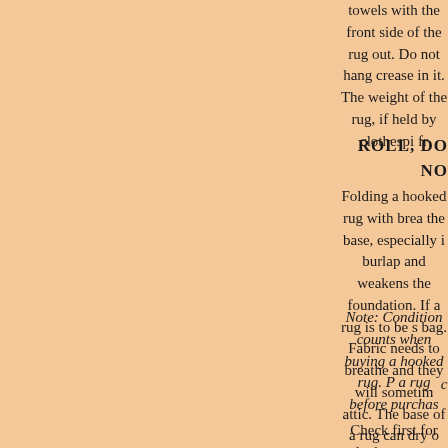towels with the front side of the rug out. Do not hang crease in it. The weight of the rug, if held by clothespi fr
ROLL, DO NO
Folding a hooked rug with brea the base, especially i burlap and weakens the foundation. If a rug is to be s bag. Fabric needs to breathe and they will sometim attic. The base of a rug can dry o
Note: Condition counts when buying a hooked rug. P a rug before purchas
c
Check first for whether or not a rug is dry and brittle should feel supple and pliable. A rug with weakened condition are very difficult to repair. Hold a rug Most old hooked rugs have been repaired in the desirability, that is, if the restoration has been well do cover wear at the edges, and again, rebinding does n repair a hole in a hooked rug is to sew a small burlap thread will not hold up if used underfoot. Virtually all c monk's cloth could be presumed to be modern. Hooke